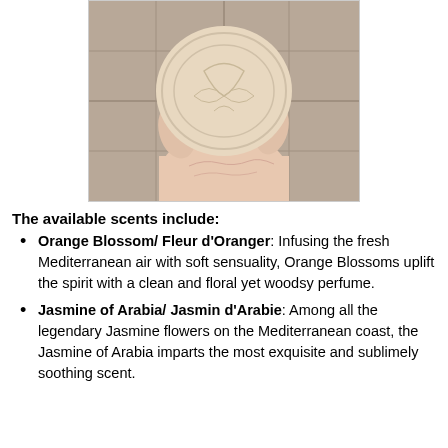[Figure (photo): A hand holding a round, cream-colored embossed soap bar against a tiled bathroom background.]
The available scents include:
Orange Blossom/ Fleur d'Oranger: Infusing the fresh Mediterranean air with soft sensuality, Orange Blossoms uplift the spirit with a clean and floral yet woodsy perfume.
Jasmine of Arabia/ Jasmin d'Arabie: Among all the legendary Jasmine flowers on the Mediterranean coast, the Jasmine of Arabia imparts the most exquisite and sublimely soothing scent.